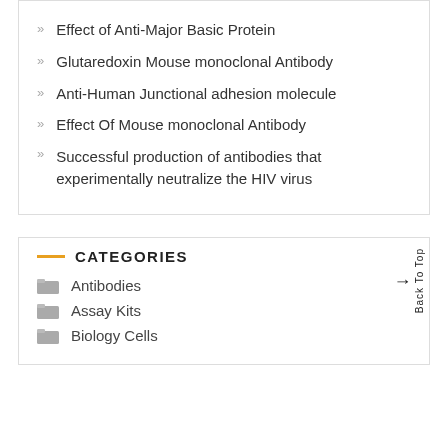Effect of Anti-Major Basic Protein
Glutaredoxin Mouse monoclonal Antibody
Anti-Human Junctional adhesion molecule
Effect Of Mouse monoclonal Antibody
Successful production of antibodies that experimentally neutralize the HIV virus
CATEGORIES
Antibodies
Assay Kits
Biology Cells